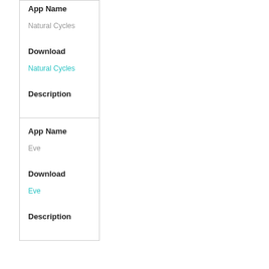| App Name | Download | Description |
| --- | --- | --- |
| Natural Cycles | Natural Cycles |  |
| Eve | Eve |  |
App Name
Natural Cycles
Download
Natural Cycles
Description
App Name
Eve
Download
Eve
Description